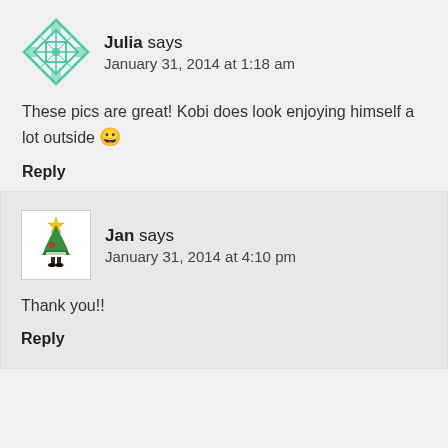[Figure (illustration): Teal/green decorative quilt-pattern avatar icon for user Julia]
Julia says
January 31, 2014 at 1:18 am
These pics are great! Kobi does look enjoying himself a lot outside 😀
Reply
[Figure (illustration): Small Christmas tree character avatar icon for user Jan]
Jan says
January 31, 2014 at 4:10 pm
Thank you!!
Reply